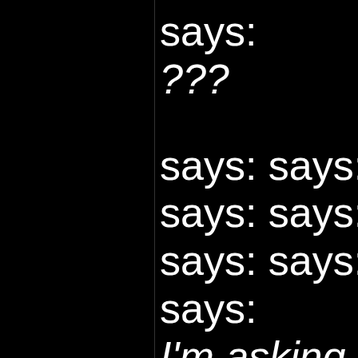says:
???

says: says: s
says: says: s
says: says: s
says:
I'm asking